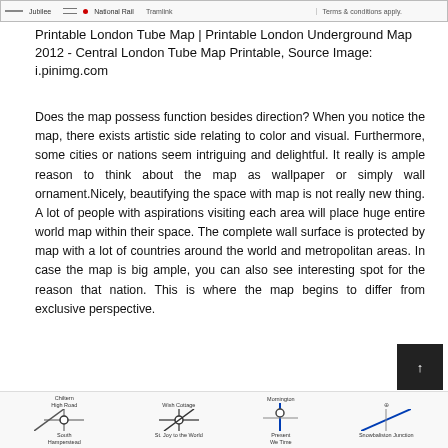[Figure (screenshot): Top strip showing London Tube map legend items: Jubilee line, National Rail, Tramlink, Terms & conditions apply]
Printable London Tube Map | Printable London Underground Map 2012 - Central London Tube Map Printable, Source Image: i.pinimg.com
Does the map possess function besides direction? When you notice the map, there exists artistic side relating to color and visual. Furthermore, some cities or nations seem intriguing and delightful. It really is ample reason to think about the map as wallpaper or simply wall ornament.Nicely, beautifying the space with map is not really new thing. A lot of people with aspirations visiting each area will place huge entire world map within their space. The complete wall surface is protected by map with a lot of countries around the world and metropolitan areas. In case the map is big ample, you can also see interesting spot for the reason that nation. This is where the map begins to differ from exclusive perspective.
[Figure (screenshot): Bottom strip showing partial London Tube map with station names: Chiltern High Road, South Hamperstead, Wish Cottage, St. Joy to the World, Mornington Present, We Time, Snowbaliston Junction]